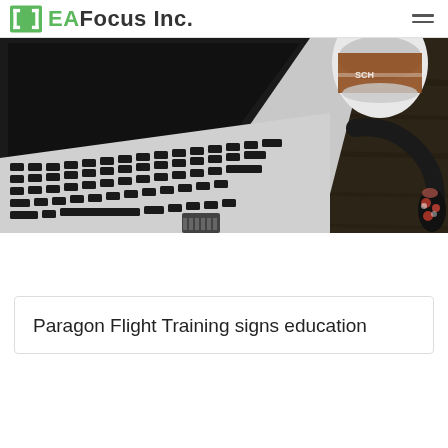EA Focus Inc.
[Figure (photo): Overhead flat-lay photo of a laptop keyboard, a coffee mug, a floral headphone, and an SD card on a dark wooden desk surface.]
Paragon Flight Training signs education